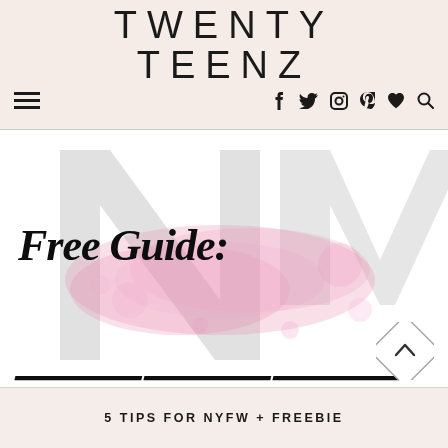TWENTY TEENZ
[Figure (illustration): Blog post featured image with large N logo watermark in gray, pink watercolor splash in center, and 'Free Guide:' text in bold italic script overlaid]
5 TIPS FOR NYFW + FREEBIE